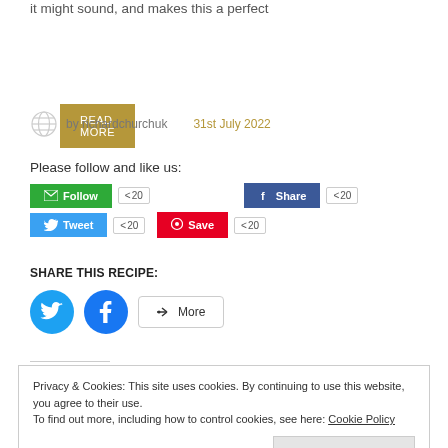it might sound, and makes this a perfect
READ MORE
by richardchurchuk   31st July 2022
Please follow and like us:
Follow 20   Share 20   Tweet 20   Save 20
SHARE THIS RECIPE:
More
Privacy & Cookies: This site uses cookies. By continuing to use this website, you agree to their use.
To find out more, including how to control cookies, see here: Cookie Policy
Close and accept